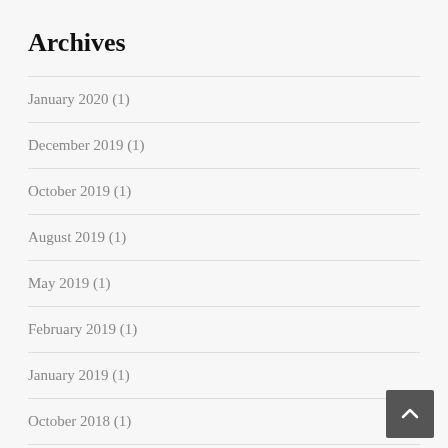Archives
January 2020 (1)
December 2019 (1)
October 2019 (1)
August 2019 (1)
May 2019 (1)
February 2019 (1)
January 2019 (1)
October 2018 (1)